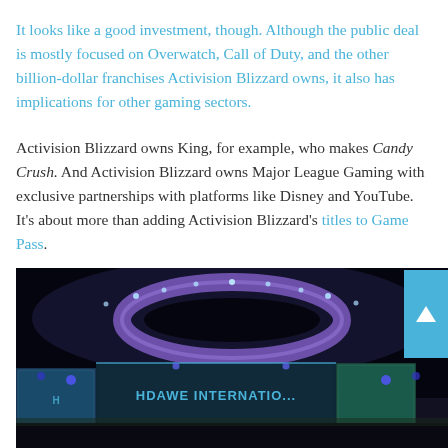It looks like a good investment, though. Although the public deal is mostly focused on Overwatch, Call of Duty, and the other billion-dollar franchises Activision Blizzard owns, it also has implications for other gaming sectors.
Activision Blizzard owns King, for example, who makes Candy Crush. And Activision Blizzard owns Major League Gaming with exclusive partnerships with platforms like Disney and YouTube. It's about more than adding Activision Blizzard's titles to Game Pass.
[Figure (photo): A dark esports arena stage with purple/blue lighting, a large circular overhead light fixture, and a banner reading 'HDAWE INTERNATIONAL' visible on signage boards along the stage front.]